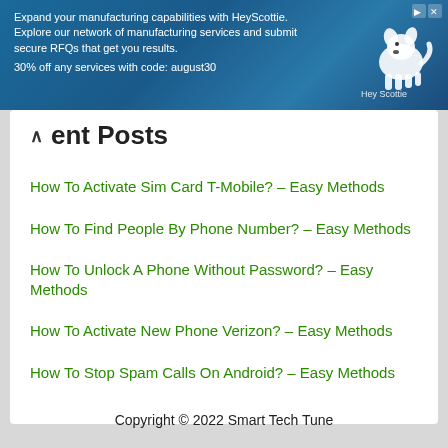[Figure (screenshot): Advertisement banner for HeyScottie manufacturing services with blue background and dog logo]
Recent Posts
How To Activate Sim Card T-Mobile? – Easy Methods
How To Find People By Phone Number? – Easy Methods
How To Unlock A Phone Without Password? – Easy Methods
How To Activate New Phone Verizon? – Easy Methods
How To Stop Spam Calls On Android? – Easy Methods
Copyright © 2022 Smart Tech Tune